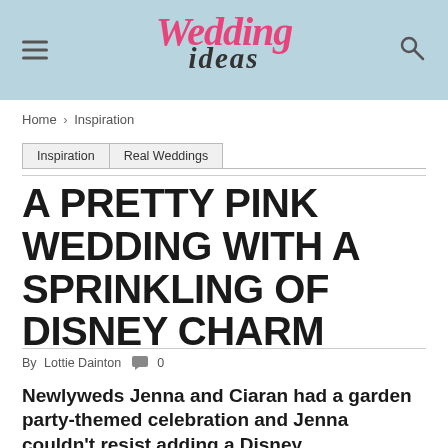Wedding ideas
Home › Inspiration
Inspiration | Real Weddings
A PRETTY PINK WEDDING WITH A SPRINKLING OF DISNEY CHARM
By Lottie Dainton 0
Newlyweds Jenna and Ciaran had a garden party-themed celebration and Jenna couldn't resist adding a Disney